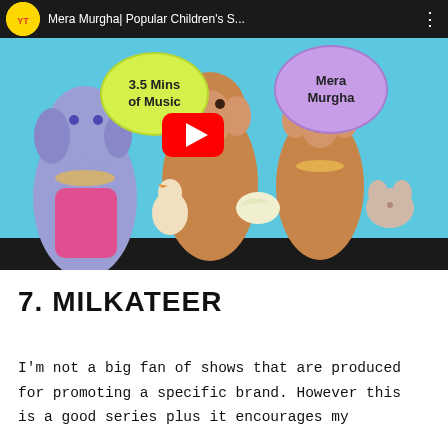[Figure (screenshot): YouTube video thumbnail for 'Mera Murgha | Popular Children's S...' showing puppet characters including an elephant, two monkeys holding animal puppets (chicken, bird, mouse), on a teal background. Speech bubbles say '3.5 Mins of Music' and 'Mera Murgha'. A red YouTube play button is centered. There is a black progress bar at the bottom.]
7. MILKATEER
I'm not a big fan of shows that are produced for promoting a specific brand. However this is a good series plus it encourages my